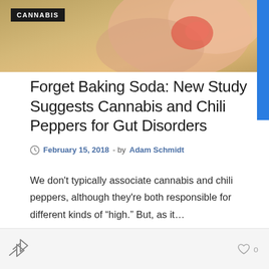[Figure (photo): Close-up photo of a person scratching or touching skin with reddish inflammation, yellowish/green background tones]
Forget Baking Soda: New Study Suggests Cannabis and Chili Peppers for Gut Disorders
February 15, 2018 - by Adam Schmidt
We don’t typically associate cannabis and chili peppers, although they’re both responsible for different kinds of “high.” But, as it…